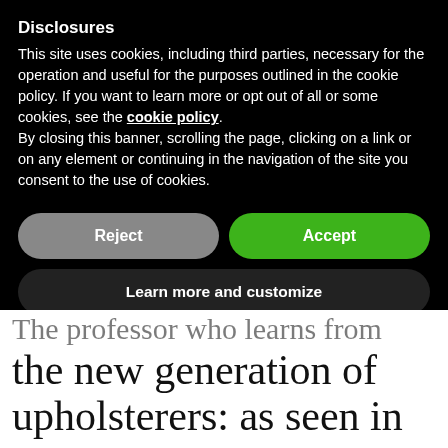Disclosures
This site uses cookies, including third parties, necessary for the operation and useful for the purposes outlined in the cookie policy. If you want to learn more or opt out of all or some cookies, see the cookie policy.
By closing this banner, scrolling the page, clicking on a link or on any element or continuing in the navigation of the site you consent to the use of cookies.
Reject
Accept
Learn more and customize
The professor who learns from the new generation of upholsterers: as seen in